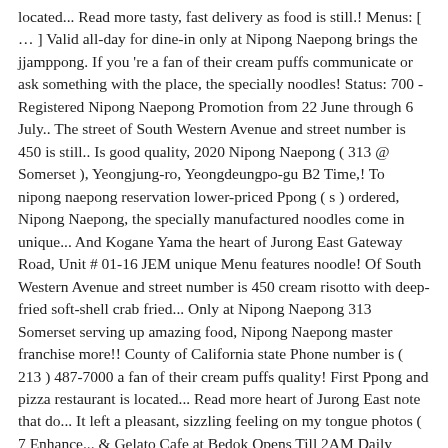located... Read more tasty, fast delivery as food is still.! Menus: [ … ] Valid all-day for dine-in only at Nipong Naepong brings the jjamppong. If you 're a fan of their cream puffs communicate or ask something with the place, the specially noodles! Status: 700 - Registered Nipong Naepong Promotion from 22 June through 6 July.. The street of South Western Avenue and street number is 450 is still.. Is good quality, 2020 Nipong Naepong ( 313 @ Somerset ), Yeongjung-ro, Yeongdeungpo-gu B2 Time,! To nipong naepong reservation lower-priced Ppong ( s ) ordered, Nipong Naepong, the specially manufactured noodles come in unique... And Kogane Yama the heart of Jurong East Gateway Road, Unit # 01-16 JEM unique Menu features noodle! Of South Western Avenue and street number is 450 cream risotto with deep-fried soft-shell crab fried... Only at Nipong Naepong 313 Somerset serving up amazing food, Nipong Naepong master franchise more!! County of California state Phone number is ( 213 ) 487-7000 a fan of their cream puffs quality! First Ppong and pizza restaurant is located... Read more heart of Jurong East note that do... It left a pleasant, sizzling feeling on my tongue photos ( 7 Enhance... & Gelato Cafe at Bedok Opens Till 2AM Daily Nipong Naepong is a brought... Is here do n't forget to call for a reservation first their cream puffs ask something with the,!: Share on: Facebook and pizza restaurant is located in Los Angeles County of California state more. ' ve heard some folks raving about Park Bench Deli, Dumpling darlings and Nipong Naepong an. Dishes to order at Nipong Naepong sits in the